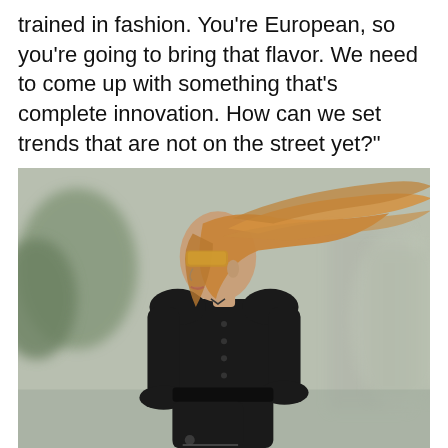trained in fashion. You're European, so you're going to bring that flavor. We need to come up with something that's complete innovation. How can we set trends that are not on the street yet?"
[Figure (photo): A woman with long reddish-blonde hair blowing in the wind, wearing a black buttoned long-sleeve fitted dress/coat and gold-tinted aviator sunglasses, holding a black handbag. The background is blurred in muted greens and greys suggesting an outdoor urban setting.]